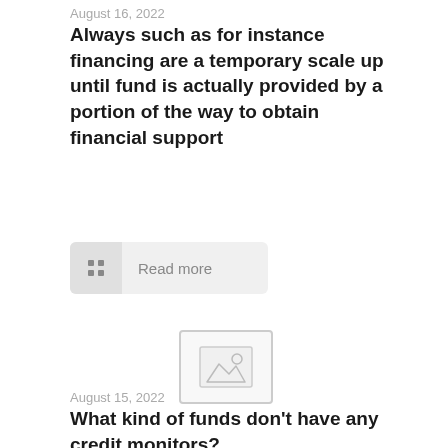August 16, 2022
Always such as for instance financing are a temporary scale up until fund is actually provided by a portion of the way to obtain financial support
[Figure (other): Read more button with grid icon]
[Figure (photo): Placeholder image thumbnail with mountain/landscape icon]
August 15, 2022
What kind of funds don't have any credit monitors?